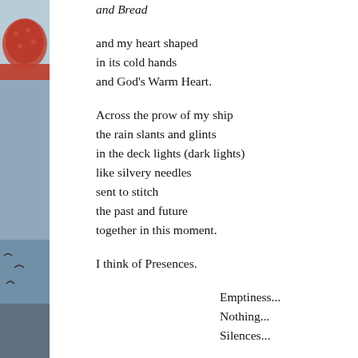[Figure (photo): Left-side vertical photo strip showing a colorful image with red umbrella or decorative element and birds against a blue-grey sky background]
and Bread

and my heart shaped
in its cold hands
and God's Warm Heart.

Across the prow of my ship
the rain slants and glints
in the deck lights (dark lights)
like silvery needles
sent to stitch
the past and future
together in this moment.

I think of Presences.

Emptiness...
Nothing...
Silences...